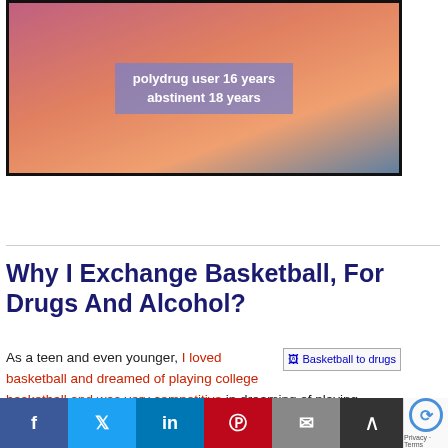[Figure (screenshot): Video screenshot of a person wearing an orange shirt with a blue-purple overlay banner showing text: 'polydrug user 16 years / abstinent 18 years']
Why I Exchange Basketball, For Drugs And Alcohol?
As a teen and even younger, I loved basketball and dreamed of playing college basketball and was very competitive in dreaming of playing college basketball. I thought the Marijuana and alcohol I was using didn't affect my ability and I only used
[Figure (screenshot): Social share bar with Facebook, Twitter, LinkedIn, Pinterest, Email buttons, a scroll-up button, and a reCAPTCHA widget]